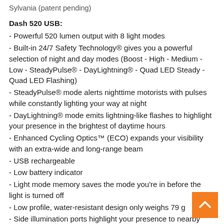Sylvania (patent pending)
Dash 520 USB:
- Powerful 520 lumen output with 8 light modes
- Built-in 24/7 Safety Technology® gives you a powerful selection of night and day modes (Boost - High - Medium - Low - SteadyPulse® - DayLightning® - Quad LED Steady - Quad LED Flashing)
- SteadyPulse® mode alerts nighttime motorists with pulses while constantly lighting your way at night
- DayLightning® mode emits lightning-like flashes to highlight your presence in the brightest of daytime hours
- Enhanced Cycling Optics™ (ECO) expands your visibility with an extra-wide and long-range beam
- USB rechargeable
- Low battery indicator
- Light mode memory saves the mode you're in before the light is turned off
- Low profile, water-resistant design only weighs 79 g
- Side illumination ports highlight your presence to nearby motorists